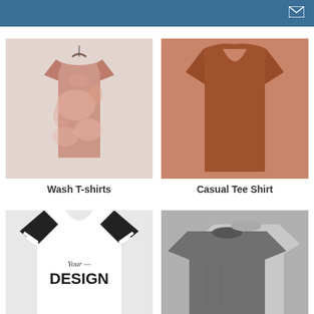[Figure (photo): Pink/mauve tie-dye velvet T-shirt on a hanger against a light gray background]
Wash T-shirts
[Figure (photo): Brown casual V-neck tee shirt displayed on a model torso against a beige/cream background]
Casual Tee Shirt
[Figure (photo): White and black raglan V-neck baseball-style t-shirt with 'Your DESIGN' text on front, worn by a person]
[Figure (photo): Two gray athletic/sport crew-neck t-shirts overlapping, one darker gray and one lighter gray]